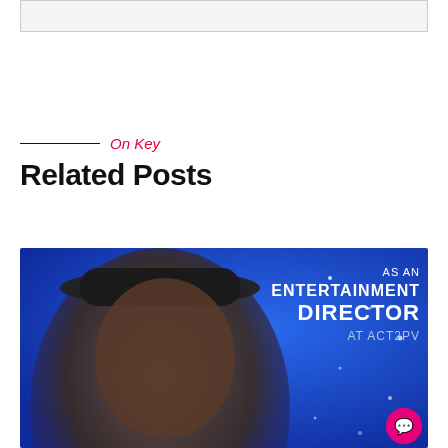[Figure (other): Top box/banner area, partially visible, light gray bordered rectangle]
On Key
Related Posts
[Figure (photo): Promotional image showing a man wearing a dark hat against a blue background with text 'AS AN ENTERTAINMENT DIRECTOR AT ACT2PV']